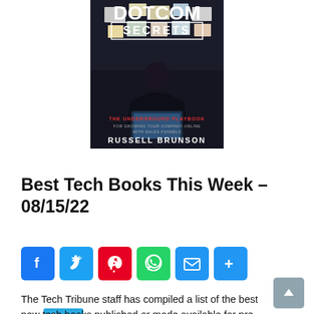[Figure (photo): Book cover of 'DotCom Secrets' by Russell Brunson — dark background with person sitting at desk covered in papers, subtitle 'The Underground Playbook for Growing Your Company Online with Sales Funnels']
Best Tech Books This Week
Best Tech Books This Week – 08/15/22
[Figure (infographic): Social sharing buttons row: Facebook (blue), Twitter (light blue), Pinterest (red), WhatsApp (green), Email (blue), More/Share (blue)]
The Tech Tribune staff has compiled a list of the best new tech books published or made available for pre-order